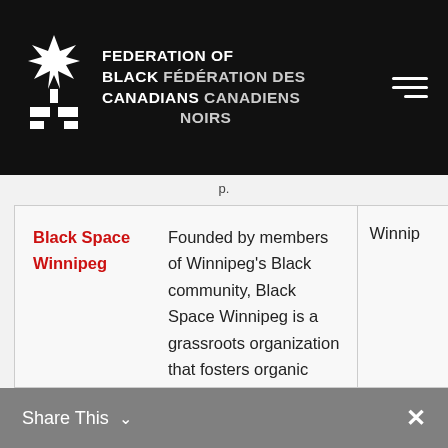[Figure (logo): Federation of Black Canadians / Fédération des Canadiens Noirs logo with white maple leaf / abstract design on black background]
FEDERATION OF BLACK  FÉDÉRATION DES CANADIANS  CANADIENS NOIRS
|  |  |  |
| --- | --- | --- |
| Black Space Winnipeg | Founded by members of Winnipeg's Black community, Black Space Winnipeg is a grassroots organization that fosters organic dialogue on everyday experiences of being Black. | Winnip… |
Share This